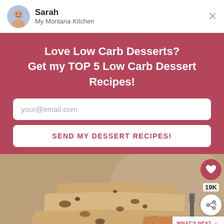Sarah
My Montana Kitchen
Love Low Carb Desserts?
Get my TOP 5 Low Carb Dessert Recipes!
your@email.com
SEND MY DESSERT RECIPES!
[Figure (photo): Stacked pecan bars/cookies with nuts, close-up food photography. Social share sidebar with heart icon (19K), share icon. What's Next overlay showing Keto No Bake Cookies thumbnail and label.]